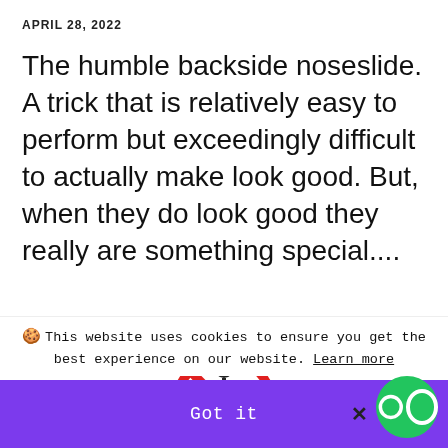APRIL 28, 2022
The humble backside noseslide. A trick that is relatively easy to perform but exceedingly difficult to actually make look good. But, when they do look good they really are something special....
[Figure (illustration): A red circle with a diagonal line through it (prohibition sign) overlaid on a stick figure with arms outstretched, indicating no skateboarding or similar activity.]
🍪 This website uses cookies to ensure you get the best experience on our website. Learn more
Got it